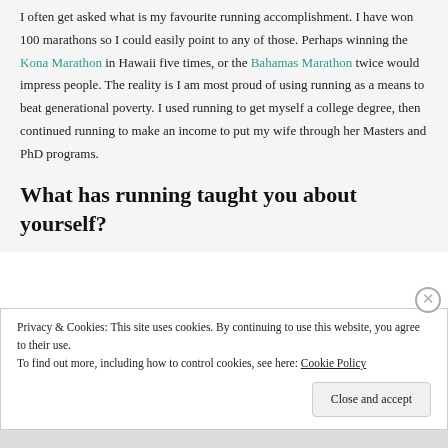I often get asked what is my favourite running accomplishment. I have won 100 marathons so I could easily point to any of those. Perhaps winning the Kona Marathon in Hawaii five times, or the Bahamas Marathon twice would impress people. The reality is I am most proud of using running as a means to beat generational poverty. I used running to get myself a college degree, then continued running to make an income to put my wife through her Masters and PhD programs.
What has running taught you about yourself?
Privacy & Cookies: This site uses cookies. By continuing to use this website, you agree to their use. To find out more, including how to control cookies, see here: Cookie Policy